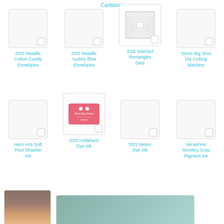Cardstock
SSS Metallic Cotton Candy Envelopes
SSS Metallic Audrey Blue Envelopes
SSS Stitched Rectangles Dies
Sizzix Big Shot Die Cutting Machine
Hero Arts Soft Pool Shadow Ink
SSS Hollyhock Dye Ink
SSS Melon Dye Ink
VersaFine Smokey Gray Pigment Ink